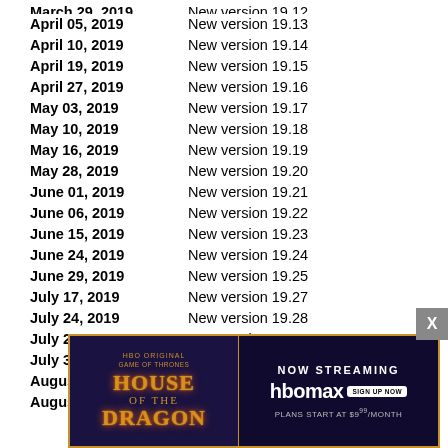April 05, 2019    New version 19.13
April 10, 2019    New version 19.14
April 19, 2019    New version 19.15
April 27, 2019    New version 19.16
May 03, 2019    New version 19.17
May 10, 2019    New version 19.18
May 16, 2019    New version 19.19
May 28, 2019    New version 19.20
June 01, 2019    New version 19.21
June 06, 2019    New version 19.22
June 15, 2019    New version 19.23
June 24, 2019    New version 19.24
June 29, 2019    New version 19.25
July 17, 2019    New version 19.27
July 24, 2019    New version 19.28
July 25, 2019    New version 19.28.1
July 31, 2019    New version 19.29
August ...    New version ...
August ...    New version ...
[Figure (screenshot): House of the Dragon HBO Max advertisement overlay with close button]